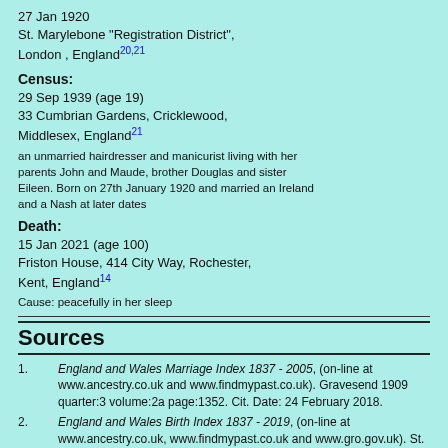27 Jan 1920
St. Marylebone "Registration District", London , England20,21
Census:
29 Sep 1939 (age 19)
33 Cumbrian Gardens, Cricklewood, Middlesex, England21
an unmarried hairdresser and manicurist living with her parents John and Maude, brother Douglas and sister Eileen. Born on 27th January 1920 and married an Ireland and a Nash at later dates
Death:
15 Jan 2021 (age 100)
Friston House, 414 City Way, Rochester, Kent, England14
Cause: peacefully in her sleep
Sources
1. England and Wales Marriage Index 1837 - 2005, (on-line at www.ancestry.co.uk and www.findmypast.co.uk). Gravesend 1909 quarter:3 volume:2a page:1352. Cit. Date: 24 February 2018.
2. England and Wales Birth Index 1837 - 2019, (on-line at www.ancestry.co.uk, www.findmypast.co.uk and www.gro.gov.uk). St. George Hanover Square 1889 quarter:2 volume:1a page:469. Cit. Date: 27 February 2018.